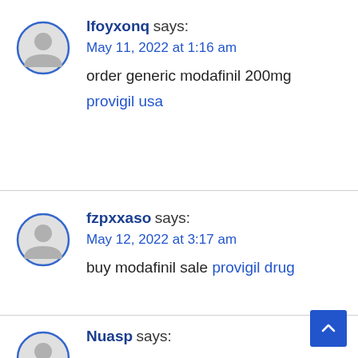lfoyxonq says: May 11, 2022 at 1:16 am
order generic modafinil 200mg
provigil usa
fzpxxaso says: May 12, 2022 at 3:17 am
buy modafinil sale provigil drug
Nuasp says: